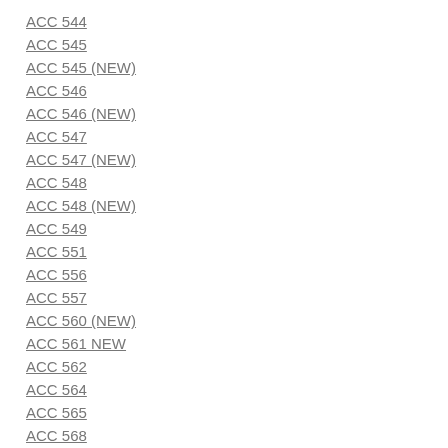ACC 544
ACC 545
ACC 545 (NEW)
ACC 546
ACC 546 (NEW)
ACC 547
ACC 547 (NEW)
ACC 548
ACC 548 (NEW)
ACC 549
ACC 551
ACC 556
ACC 557
ACC 560 (NEW)
ACC 561 NEW
ACC 562
ACC 564
ACC 565
ACC 568